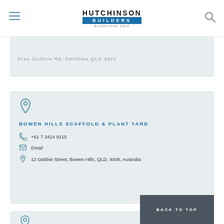HUTCHINSON BUILDERS — Established 1912
Free Guthrie Rd, Smithlea QLD 4310
BOWEN HILLS SCAFFOLD & PLANT YARD
+61 7 3414 9115
Email
12 Gebbie Street, Bowen Hills, QLD, 4006, Australia
SYDNEY SCAFFOLD YARD
BACK TO TOP